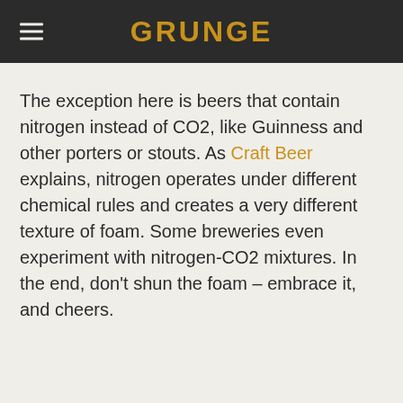GRUNGE
The exception here is beers that contain nitrogen instead of CO2, like Guinness and other porters or stouts. As Craft Beer explains, nitrogen operates under different chemical rules and creates a very different texture of foam. Some breweries even experiment with nitrogen-CO2 mixtures. In the end, don't shun the foam – embrace it, and cheers.